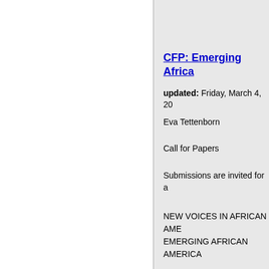CFP: Emerging Africa
updated: Friday, March 4, 20
Eva Tettenborn
Call for Papers
Submissions are invited for a
NEW VOICES IN AFRICAN AME
EMERGING AFRICAN AMERICA
Essays should discuss works b
published during the 1990's a
We especially encourage essa
-canonicity and popular black
-pedagogical implications of i
into more traditional syllabi;